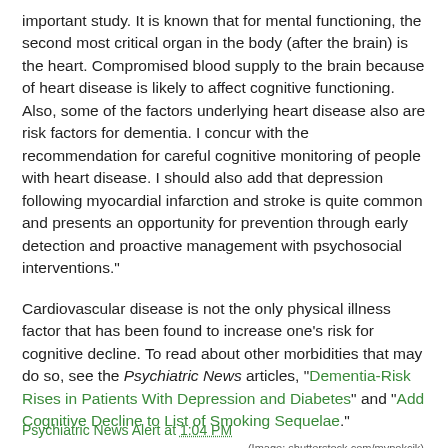important study. It is known that for mental functioning, the second most critical organ in the body (after the brain) is the heart. Compromised blood supply to the brain because of heart disease is likely to affect cognitive functioning. Also, some of the factors underlying heart disease also are risk factors for dementia. I concur with the recommendation for careful cognitive monitoring of people with heart disease. I should also add that depression following myocardial infarction and stroke is quite common and presents an opportunity for prevention through early detection and proactive management with psychosocial interventions."
Cardiovascular disease is not the only physical illness factor that has been found to increase one's risk for cognitive decline. To read about other morbidities that may do so, see the Psychiatric News articles, "Dementia-Risk Rises in Patients With Depression and Diabetes" and "Add Cognitive Decline to List of Smoking Sequelae."
(Image: shutterstock.com/mypokcik)
Psychiatric News Alert at 1:04 PM